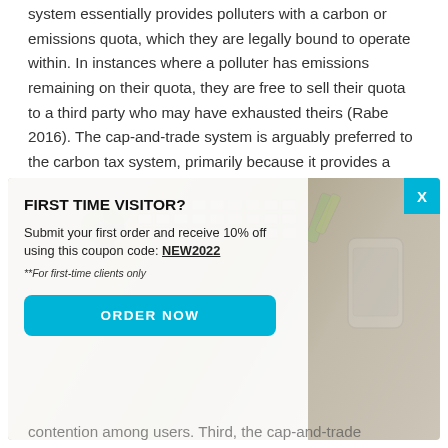system essentially provides polluters with a carbon or emissions quota, which they are legally bound to operate within. In instances where a polluter has emissions remaining on their quota, they are free to sell their quota to a third party who may have exhausted theirs (Rabe 2016). The cap-and-trade system is arguably preferred to the carbon tax system, primarily because it provides a degree of autonomy to
[Figure (screenshot): A popup modal overlay on top of article text. The modal has a background photo of a desk with keyboard, phone, plant, and highlighters. A white panel on the left contains: heading 'FIRST TIME VISITOR?', body text 'Submit your first order and receive 10% off using this coupon code: NEW2022', italic note '**For first-time clients only', and a teal 'ORDER NOW' button. A teal X close button is in the top right corner.]
contention among users. Third, the cap-and-trade